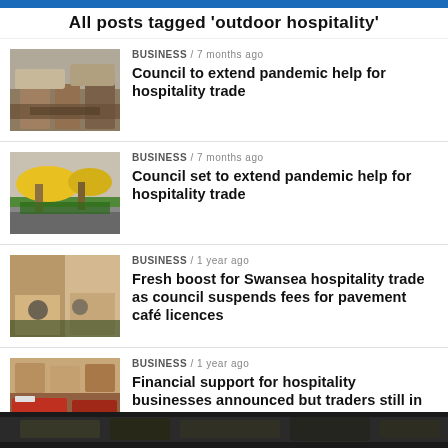All posts tagged 'outdoor hospitality'
[Figure (photo): Outdoor hospitality area with wooden planter boxes and tables outside a shop]
BUSINESS / 7 months ago
Council to extend pandemic help for hospitality trade
[Figure (photo): Outdoor seating area with yellow umbrellas outside a restaurant]
BUSINESS / 7 months ago
Council set to extend pandemic help for hospitality trade
[Figure (photo): Outdoor cafe seating on a pavement with people sitting]
BUSINESS / 1 year ago
Fresh boost for Swansea hospitality trade as council suspends fees for pavement café licences
[Figure (photo): Street view of hospitality businesses with outdoor seating and red planters]
BUSINESS / 1 year ago
Financial support for hospitality businesses announced but traders still in 'state of anguish'
[Figure (photo): Dark strip image at bottom of page showing street scene]